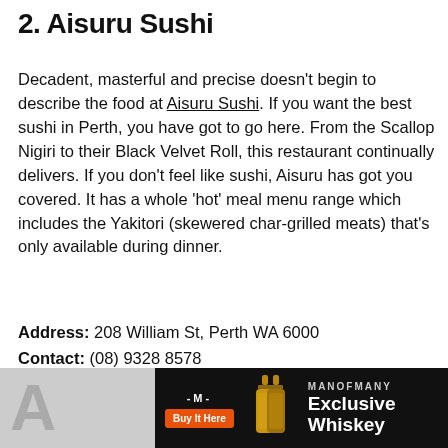2. Aisuru Sushi
Decadent, masterful and precise doesn't begin to describe the food at Aisuru Sushi. If you want the best sushi in Perth, you have got to go here. From the Scallop Nigiri to their Black Velvet Roll, this restaurant continually delivers. If you don't feel like sushi, Aisuru has got you covered. It has a whole 'hot' meal menu range which includes the Yakitori (skewered char-grilled meats) that's only available during dinner.
Address: 208 William St, Perth WA 6000
Contact: (08) 9328 8578
Hours: Mon & Tues: 6pm – 9pm, Wed & Thurs & Sunday: 12pm – 2pm, 6pm – 9pm, Fri & Sat: 12pm – 2pm, 6pm – 9:30pm
[Figure (other): Advertisement banner for ManOfMany Exclusive Whiskey with dark background, orange Buy It Here button, whiskey bottle images, and white text.]